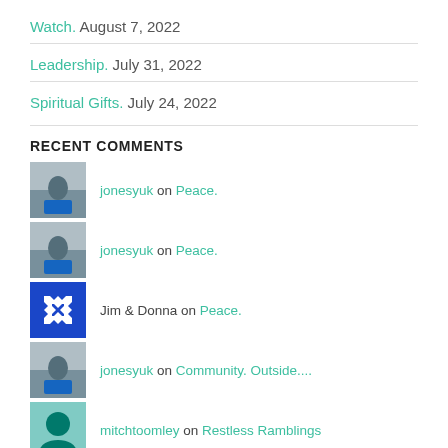Watch. August 7, 2022
Leadership. July 31, 2022
Spiritual Gifts. July 24, 2022
RECENT COMMENTS
jonesyuk on Peace.
jonesyuk on Peace.
Jim & Donna on Peace.
jonesyuk on Community. Outside....
mitchtoomley on Restless Ramblings